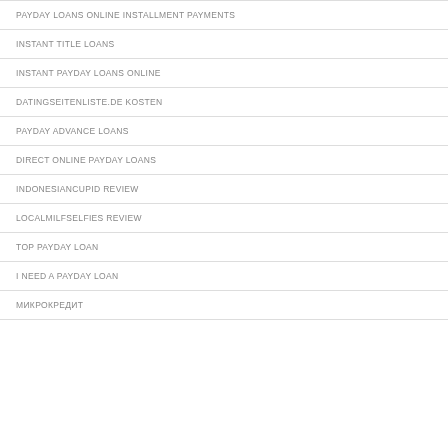PAYDAY LOANS ONLINE INSTALLMENT PAYMENTS
INSTANT TITLE LOANS
INSTANT PAYDAY LOANS ONLINE
DATINGSEITENLISTE.DE KOSTEN
PAYDAY ADVANCE LOANS
DIRECT ONLINE PAYDAY LOANS
INDONESIANCUPID REVIEW
LOCALMILFSELFIES REVIEW
TOP PAYDAY LOAN
I NEED A PAYDAY LOAN
МИКРОКРЕДИТ